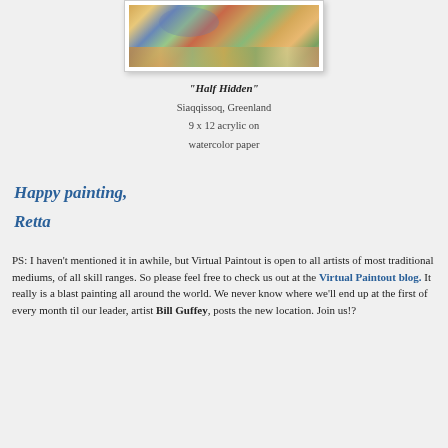[Figure (photo): A colorful painting showing a landscape with vibrant colors in oranges, yellows, blues and greens, partially cropped at the top of the page, displayed in a white-bordered frame.]
"Half Hidden"
Siaqqissoq, Greenland
9 x 12 acrylic on
watercolor paper
Happy painting,
Retta
PS: I haven't mentioned it in awhile, but Virtual Paintout is open to all artists of most traditional mediums, of all skill ranges. So please feel free to check us out at the Virtual Paintout blog. It really is a blast painting all around the world. We never know where we'll end up at the first of every month til our leader, artist Bill Guffey, posts the new location. Join us!?